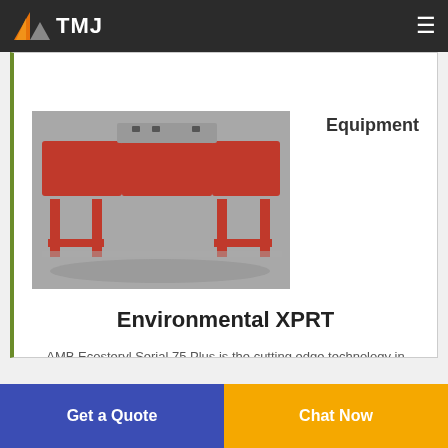TMJ | Equipment
[Figure (photo): Red industrial shredding machine (AMB Ecosteryl Serial 75 Plus) on a metal frame, photographed in a facility]
Equipment
Environmental XPRT
AMB Ecosteryl Serial 75 Plus is the cutting edge technology in hospital waste disposal nowadays. It has a 20 kW four-shaft shredder designed for the processing of sharps and prickly syringes needles and waste drums that hold up to 60L. It comes with a built-in motorized wheelie bin lifting and dumping
Get a Quote
Chat Now